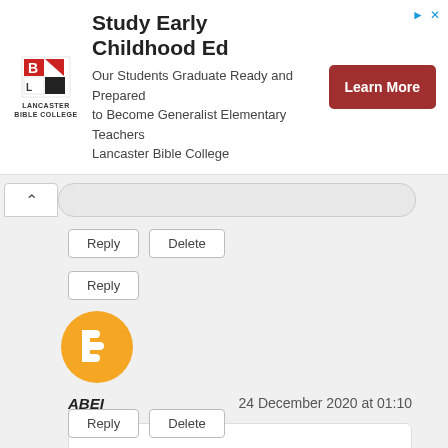[Figure (infographic): Lancaster Bible College advertisement banner with logo, headline 'Study Early Childhood Ed', descriptive text, and a red 'Learn More' button]
ABEI
24 December 2020 at 01:10
Those destinations will give you the portrayal, recordings by the organization, pictures, client and non-client labels, surveys, site, organization and their social account(s). sa gaming